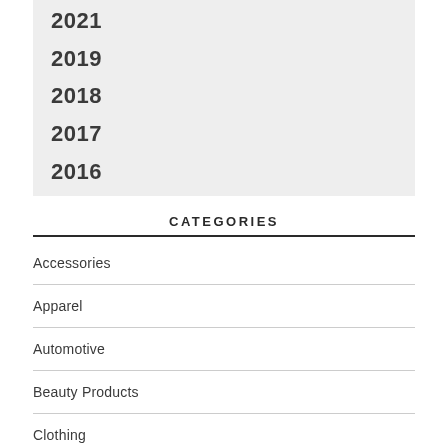2021
2019
2018
2017
2016
CATEGORIES
Accessories
Apparel
Automotive
Beauty Products
Clothing